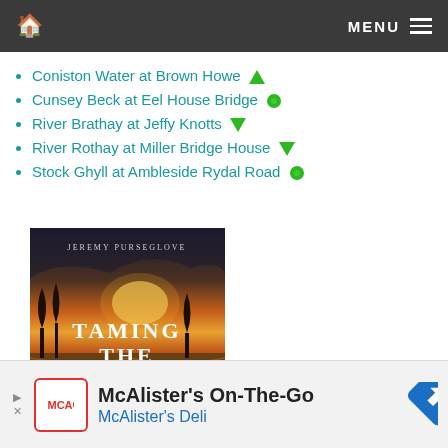MENU
Coniston Water at Brown Howe ⬆
Cunsey Beck at Eel House Bridge 🟢
River Brathay at Jeffy Knotts ⬇
River Rothay at Miller Bridge House ⬇
Stock Ghyll at Ambleside Rydal Road 🟢
[Figure (photo): Book cover: 'Taming the Flood' by Jeremy Purseglove, showing a flooded landscape at sunset with text 'RIVERS WETLANDS...']
McAlister's On-The-Go
McAlister's Deli